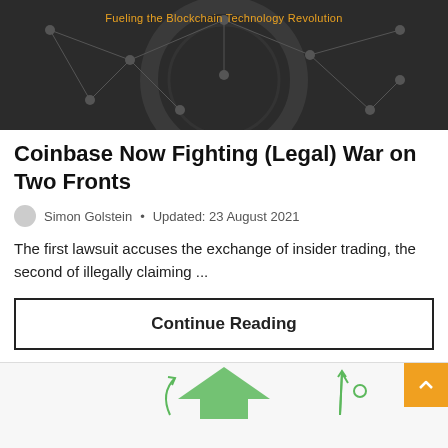[Figure (illustration): Dark blockchain network background with interconnected nodes and lines. Orange tagline text 'Fueling the Blockchain Technology Revolution' at the top center.]
Coinbase Now Fighting (Legal) War on Two Fronts
Simon Golstein • Updated: 23 August 2021
The first lawsuit accuses the exchange of insider trading, the second of illegally claiming ...
Continue Reading
[Figure (illustration): Green upward-pointing arrows illustration, partially visible, suggesting financial growth. Orange back-to-top button with caret symbol visible at right.]
Staking  Bitcoin  Gaming  Best Coins  Buy NFTs